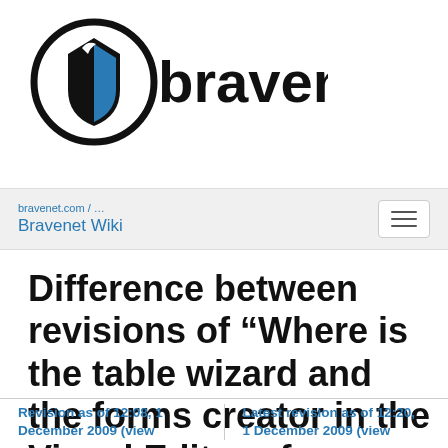[Figure (logo): Bravenet logo: circular shield icon with blue triangle and bird silhouette, followed by the text 'bravenet' in bold black sans-serif]
Bravenet Wiki
Difference between revisions of "Where is the table wizard and the forms creator in the Visual Editor of my Website Wizard?"
Revision as of 12:08, 1 December 2009 (view
Latest revision as of 12:20, 1 December 2009 (view